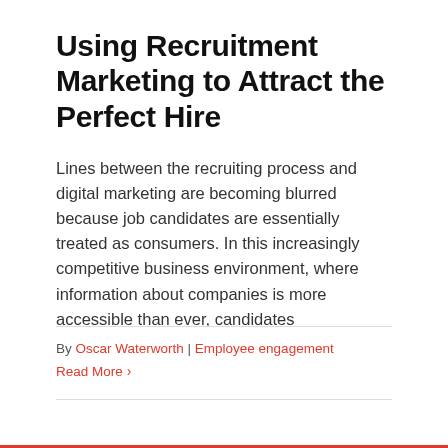Using Recruitment Marketing to Attract the Perfect Hire
Lines between the recruiting process and digital marketing are becoming blurred because job candidates are essentially treated as consumers. In this increasingly competitive business environment, where information about companies is more accessible than ever, candidates
By Oscar Waterworth | Employee engagement
Read More ›